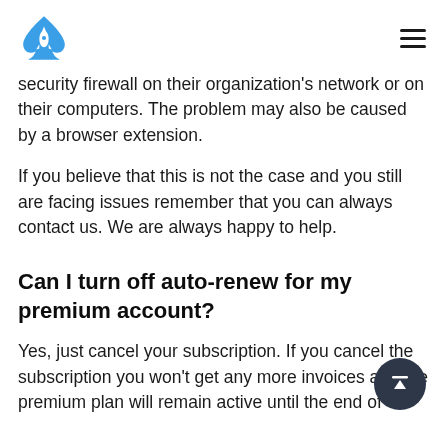[Logo: Cardrunners EV / spade with rocket] [Hamburger menu icon]
security firewall on their organization's network or on their computers. The problem may also be caused by a browser extension.
If you believe that this is not the case and you still are facing issues remember that you can always contact us. We are always happy to help.
Can I turn off auto-renew for my premium account?
Yes, just cancel your subscription. If you cancel the subscription you won't get any more invoices and the premium plan will remain active until the end of